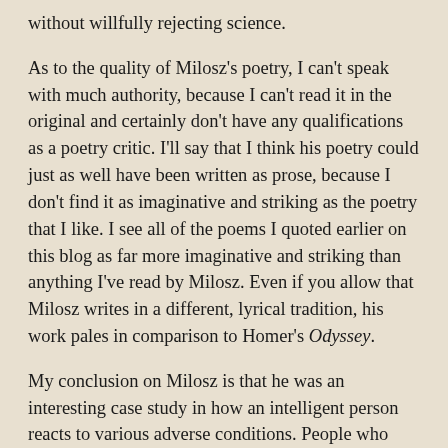without willfully rejecting science.
As to the quality of Milosz's poetry, I can't speak with much authority, because I can't read it in the original and certainly don't have any qualifications as a poetry critic. I'll say that I think his poetry could just as well have been written as prose, because I don't find it as imaginative and striking as the poetry that I like. I see all of the poems I quoted earlier on this blog as far more imaginative and striking than anything I've read by Milosz. Even if you allow that Milosz writes in a different, lyrical tradition, his work pales in comparison to Homer's Odyssey.
My conclusion on Milosz is that he was an interesting case study in how an intelligent person reacts to various adverse conditions. People who have not had the same experiences should not presume that they would have been able to handle them any better than he did. I must note that there were probably some inborn characteristics that Milosz possessed that steered him in the choices that he made. In particular, there are hints throughout the book that his strategy may have been designed specifically to combat a